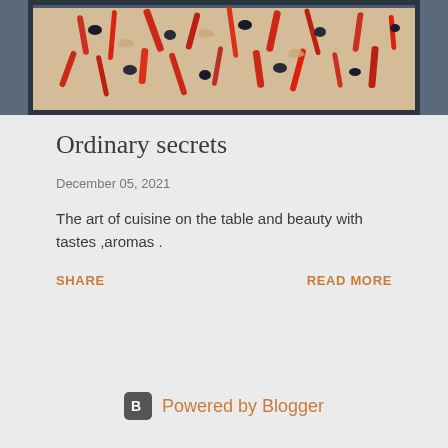[Figure (photo): A flatbread or pizza topped with red peppers, dark olives, onions, and other vegetables on a baking tray, viewed from above.]
Ordinary secrets
December 05, 2021
The art of cuisine on the table and beauty with tastes ,aromas .
SHARE
READ MORE
Powered by Blogger